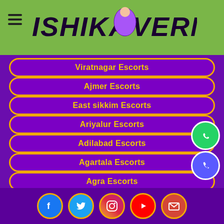ISHIKA VERMA
Viratnagar Escorts
Ajmer Escorts
East sikkim Escorts
Ariyalur Escorts
Adilabad Escorts
Agartala Escorts
Agra Escorts
Almora Escorts
Alipore Escorts
Social media icons: Facebook, Twitter, Instagram, YouTube, Email